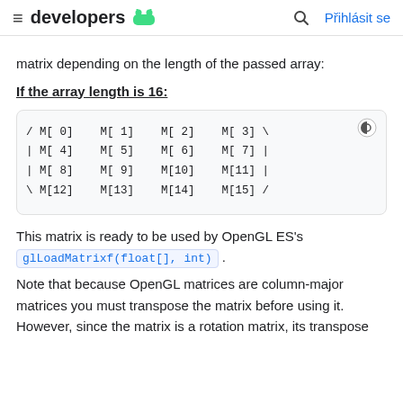≡ developers 🤖   🔍   Přihlásit se
matrix depending on the length of the passed array:
If the array length is 16:
[Figure (math-figure): Code block showing 4x4 matrix notation with M[0] through M[15] arranged in rows with bracket characters]
This matrix is ready to be used by OpenGL ES's glLoadMatrixf(float[], int).
Note that because OpenGL matrices are column-major matrices you must transpose the matrix before using it. However, since the matrix is a rotation matrix, its transpose